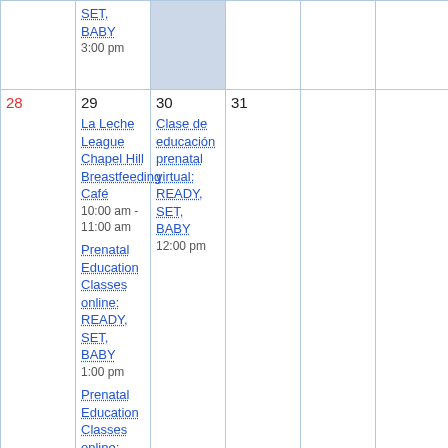| Sun | Mon | Tue | Wed | Thu | Fri | Sat |
| --- | --- | --- | --- | --- | --- | --- |
|  |  | SET, BABY
3:00 pm | (shaded) |  |  |  |
| 28 | 29
La Leche League Chapel Hill Breastfeeding Café
10:00 am - 11:00 am
Prenatal Education Classes online: READY, SET, BABY
1:00 pm
Prenatal Education Classes online: READY, SET, BABY | 30
Clase de educación prenatal virtual: READY, SET, BABY
12:00 pm | 31 |  |  |  |